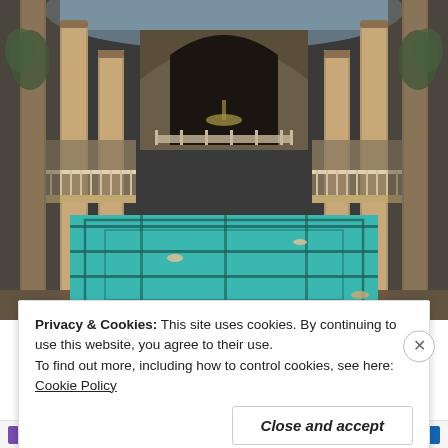[Figure (photo): Interior of an ornate classical bathhouse with large swimming pool. The pool has turquoise water with dark lane markings. Tall decorated stone columns line both sides, with white iron balconies on the upper level. A glass-roof skylight and arched doorway are visible at the far end. Several swimmers are visible in the pool.]
Privacy & Cookies: This site uses cookies. By continuing to use this website, you agree to their use.
To find out more, including how to control cookies, see here: Cookie Policy
Close and accept